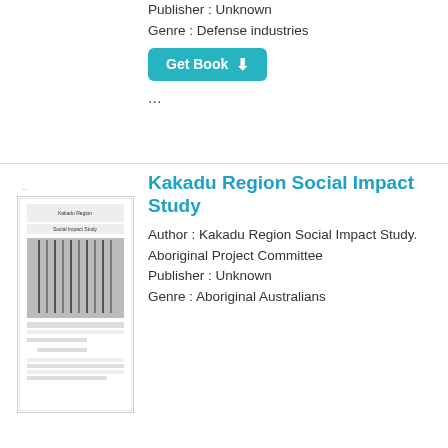Publisher : Unknown
Genre : Defense industries
Get Book
...
[Figure (photo): Book cover thumbnail for Kakadu Region Social Impact Study]
Kakadu Region Social Impact Study
Author : Kakadu Region Social Impact Study. Aboriginal Project Committee
Publisher : Unknown
Genre : Aboriginal Australians